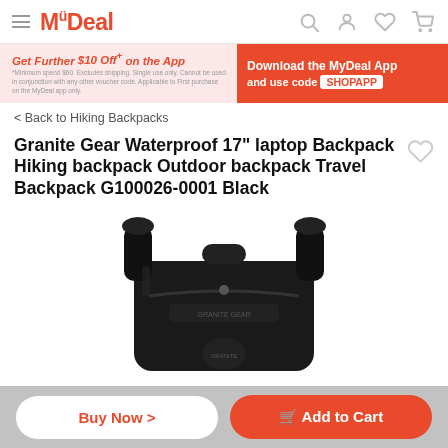MyDeal
[Figure (screenshot): MyDeal promotional banner: Get Further $10 Off+ on the App with code SHOPAPP]
< Back to Hiking Backpacks
Granite Gear Waterproof 17" laptop Backpack Hiking backpack Outdoor backpack Travel Backpack G100026-0001 Black
[Figure (photo): Photo of a black Granite Gear backpack, top view showing handles and straps]
Buy Now >   Add to Cart